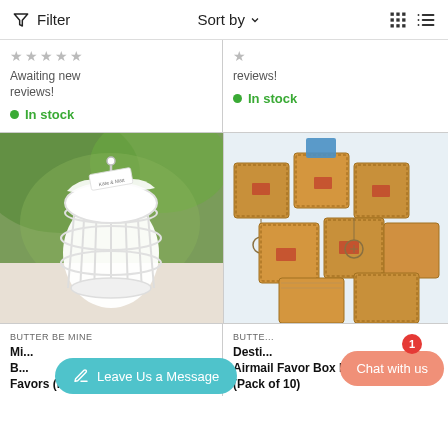Filter  Sort by  [grid icons]
Awaiting new reviews!  ★★★★☆  • In stock
reviews!  ★  • In stock
[Figure (photo): White birdcage wedding favor with ribbon and tag reading 'Kate & Matt']
[Figure (photo): Stack of vintage airmail favor boxes with compass charms on brown kraft paper]
BUTTER BE MINE
Mi... Birdcage Wedding Favor Box Favors (Pack of 4)
BUTTER... Destination Airmail Favor Box Kit (Pack of 10)
Leave Us a Message
Chat with us